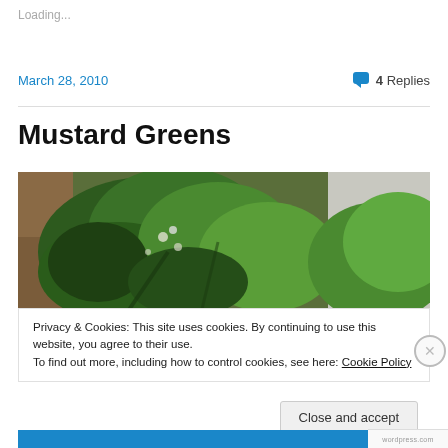Loading...
March 28, 2010
4 Replies
Mustard Greens
[Figure (photo): Photo of fresh mustard greens leaves, lush green, on a wooden surface with a light background]
Privacy & Cookies: This site uses cookies. By continuing to use this website, you agree to their use.
To find out more, including how to control cookies, see here: Cookie Policy
Close and accept